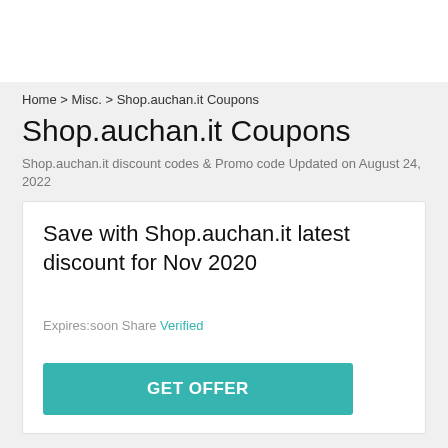Home > Misc. > Shop.auchan.it Coupons
Shop.auchan.it Coupons
Shop.auchan.it discount codes & Promo code Updated on August 24, 2022
Save with Shop.auchan.it latest discount for Nov 2020
Expires:soon Share Verified
GET OFFER